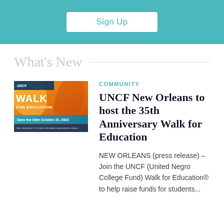[Figure (other): Teal/turquoise banner with a white Sign Up button]
What's New
[Figure (other): UNCF Walk for Education event flyer image showing colorful abstract background with text 'UNCF WALK FOR EDUCATION' and 'Save the Date October 22, 2022']
COMMUNITY
UNCF New Orleans to host the 35th Anniversary Walk for Education
NEW ORLEANS (press release) – Join the UNCF (United Negro College Fund) Walk for Education® to help raise funds for students...